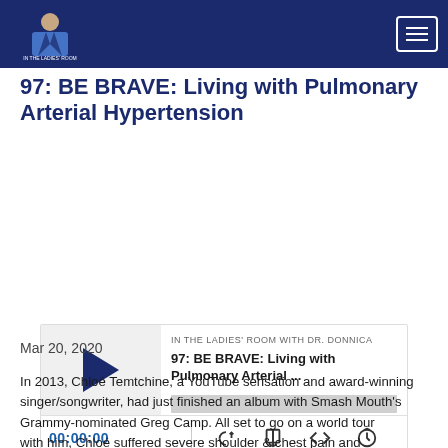IN THE LADIES' ROOM WITH DR. DONNICA
97: BE BRAVE: Living with Pulmonary Arterial Hypertension
[Figure (screenshot): Podcast player widget showing episode '97: BE BRAVE: Living with Pulmonary Arterial ...' from IN THE LADIES' ROOM WITH DR. DONNICA, with play button, progress bar, timestamp 00:00:00, and media controls (cast, download, embed, speed)]
Mar 20, 2020
In 2013, Chloé Temtchine, a YouTube sensation and award-winning singer/songwriter, had just finished an album with Smash Mouth's Grammy-nominated Greg Camp. All set to go on a world tour with him, Chloé suffered severe shoulder & chest pain and was rushed to the ER; she was in congestive heart failure. She was told she had Pulmonary Arterial Hypertension (PAH), a rare and fatal lung condition, little time left to live, and that she would have to be on oxygen for the rest of her life.